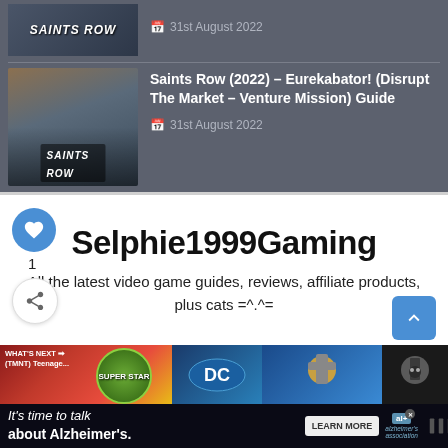[Figure (screenshot): Saints Row game thumbnail (top, partial view) showing Saints Row logo on dark background]
31st August 2022
[Figure (screenshot): Saints Row (2022) game thumbnail showing characters on a road with Saints Row logo overlay]
Saints Row (2022) – Eurekabator! (Disrupt The Market – Venture Mission) Guide
31st August 2022
Selphie1999Gaming
All the latest video game guides, reviews, affiliate products, plus cats =^.^=
[Figure (screenshot): What's Next strip showing TMNT, DC logo, Thor, and Witcher game images]
[Figure (screenshot): Alzheimer's association advertisement banner: It's time to talk about Alzheimer's. LEARN MORE]